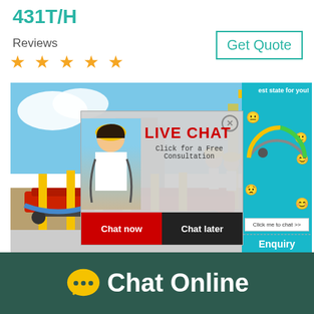431T/H
Reviews
★ ★ ★ ★ ★
Get Quote
[Figure (photo): Industrial mining/construction equipment with yellow crane structure and conveyor belt setup outdoors, with workers in yellow hard hats and a live chat popup overlay showing a smiling woman in white shirt with yellow hard hat. Chat popup has LIVE CHAT title in red, 'Click for a Free Consultation' subtitle, Chat now (red) and Chat later (dark) buttons. Right side shows a satisfaction gauge widget on teal background with emoji faces and 'Click me to chat >>' button. Partially visible 'Enquiry' text at bottom right.]
Chat Online